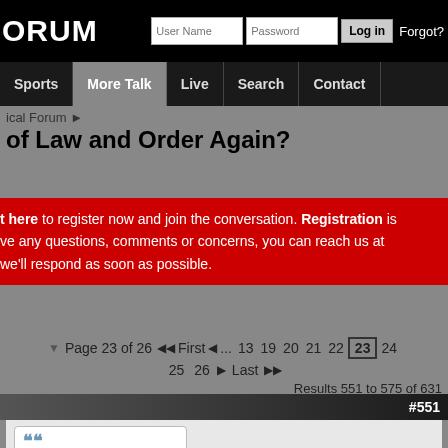ORUM  [User Name] [Password] [Log in] Forgot?
Sports | More Talk | Live | Search | Contact
ical Forum »
of Law and Order Again?
t here to register now and join the conversation. Registration is ... ve any questions, comments or concerns, you can reach us at ... we'll respond as soon as possible.
Page 23 of 26  « First  ‹  ... 13  19  20  21  22  23  24  25  26  ›  Last »»
Results 551 to 575 of 631
#551
Originally Posted by Trill Clinton
She was no angel